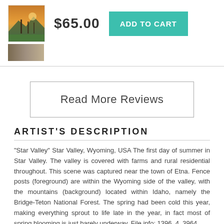[Figure (photo): Small product thumbnail photo showing a sunset/dusk scene with fence posts in a rural valley]
$65.00
ADD TO CART
[Figure (photo): Small thumbnail strip showing partial landscape photo]
Read More Reviews
ARTIST'S DESCRIPTION
"Star Valley" Star Valley, Wyoming, USA The first day of summer in Star Valley. The valley is covered with farms and rural residential throughout. This scene was captured near the town of Etna. Fence posts (foreground) are within the Wyoming side of the valley, with the mountains (background) located within Idaho, namely the Bridge-Teton National Forest. The spring had been cold this year, making everything sprout to life late in the year, in fact most of spring blooming is just barely underway. File info: 1396_4_3964